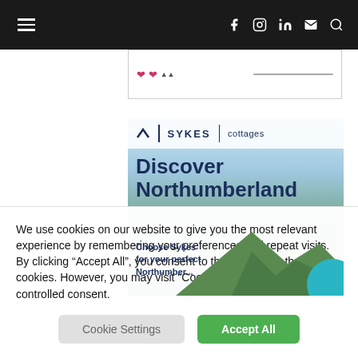Navigation bar with hamburger menu and social icons (f, instagram, in, mail, search)
[Figure (screenshot): Partial advertisement banner with hearts logo and horizontal line]
[Figure (infographic): Sykes Cottages advertisement: Discover Northumberland. Choose Sykes for your perfect Northumberland. Mountain landscape background with blue sky.]
We use cookies on our website to give you the most relevant experience by remembering your preferences and repeat visits. By clicking “Accept All”, you consent to the use of ALL the cookies. However, you may visit "Cookie Settings" to provide a controlled consent.
Cookie Settings | Accept All